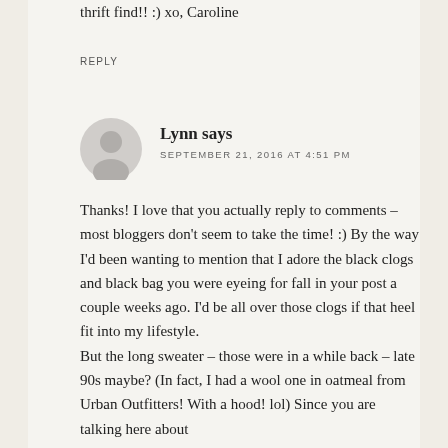thrift find!! :) xo, Caroline
REPLY
Lynn says SEPTEMBER 21, 2016 AT 4:51 PM
Thanks! I love that you actually reply to comments – most bloggers don't seem to take the time! :) By the way I'd been wanting to mention that I adore the black clogs and black bag you were eyeing for fall in your post a couple weeks ago. I'd be all over those clogs if that heel fit into my lifestyle. But the long sweater – those were in a while back – late 90s maybe? (In fact, I had a wool one in oatmeal from Urban Outfitters! With a hood! lol) Since you are talking here about